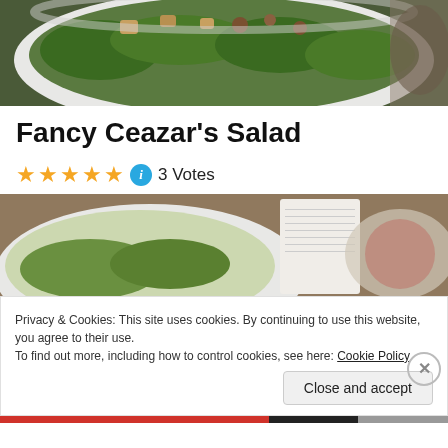[Figure (photo): Close-up photo of a salad in a white bowl with green lettuce, croutons, and toppings]
Fancy Ceazar's Salad
★★★★★ ℹ 3 Votes
[Figure (photo): Photo of a white bowl with salad greens on a wooden surface, with a recipe card visible in the background]
Privacy & Cookies: This site uses cookies. By continuing to use this website, you agree to their use.
To find out more, including how to control cookies, see here: Cookie Policy
Close and accept